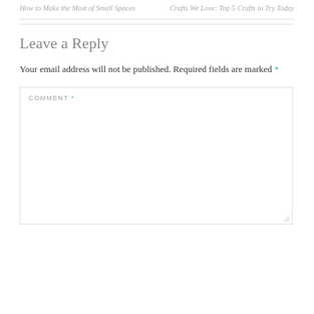How to Make the Most of Small Spaces
Crafts We Love: Top 5 Crafts to Try Today
Leave a Reply
Your email address will not be published. Required fields are marked *
COMMENT *